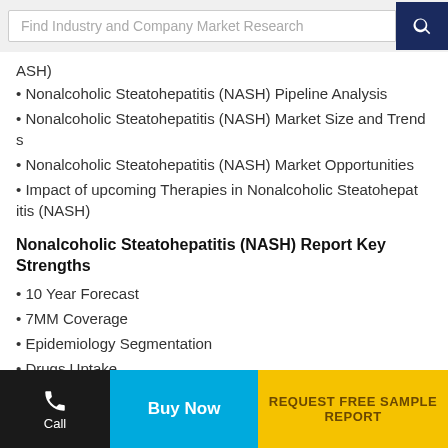Find Industry and Company Market Research
ASH)
• Nonalcoholic Steatohepatitis (NASH) Pipeline Analysis
• Nonalcoholic Steatohepatitis (NASH) Market Size and Trends
• Nonalcoholic Steatohepatitis (NASH) Market Opportunities
• Impact of upcoming Therapies in Nonalcoholic Steatohepatitis (NASH)
Nonalcoholic Steatohepatitis (NASH) Report Key Strengths
• 10 Year Forecast
• 7MM Coverage
• Epidemiology Segmentation
• Drugs Uptake
• Highly Analyzed Market
• Key Cross Competition
Call | Buy Now | REQUEST FREE SAMPLE REPORT